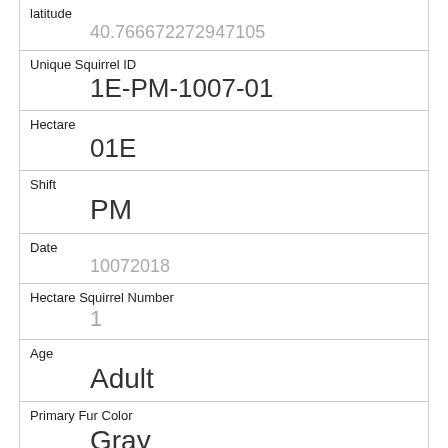| Field | Value |
| --- | --- |
| latitude | 40.766672272947105 |
| Unique Squirrel ID | 1E-PM-1007-01 |
| Hectare | 01E |
| Shift | PM |
| Date | 10072018 |
| Hectare Squirrel Number | 1 |
| Age | Adult |
| Primary Fur Color | Gray |
| Highlight Fur Color | Cinnamon, White |
| Combination of Primary and Highlight Color | Gray+Cinnamon, White |